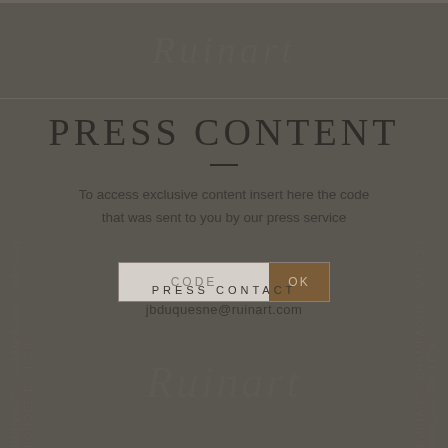Ruinart
PRESS CONTENT
To access exclusive content insert here the code that was sent to you by our press service
CODE  OK
PRESS CONTACT
jbduquesne@ruinart.com